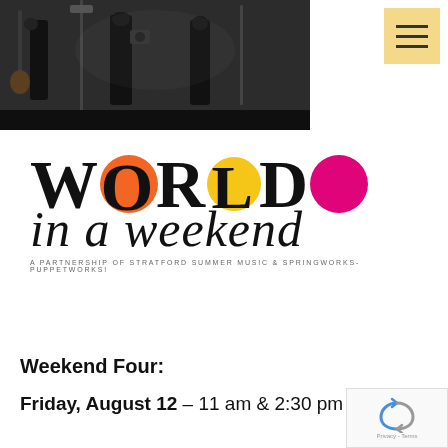[Figure (photo): Musicians performing outdoors, dark clothing, guitars and microphones visible, black and white tones]
[Figure (logo): World in a Weekend logo with colorful circular letters O (orange), R (yellow), D (pink/magenta). Italic text 'in a weekend'. Subtitle: A PARTNERSHIP OF STRATFORD SUMMER MUSIC & SPRINGWORKS-PUPPETWORKS!]
Weekend Four:
Friday, August 12 – 11 am & 2:30 pm – Hannah